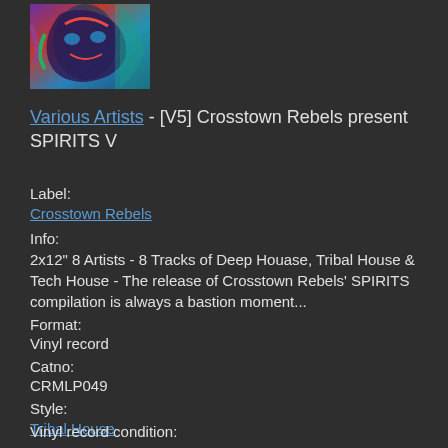[Figure (photo): Album art thumbnail showing colorful abstract face illustration with purple, red, blue and teal colors]
Various Artists - [V5] Crosstown Rebels present SPIRITS V
Label:
Crosstown Rebels
Info:
2x12" 8 Artists - 8 Tracks of Deep Houase, Tribal House & Tech House - The release of Crosstown Rebels' SPIRITS compilation is always a bastion moment...
Format:
Vinyl record
Catno:
CRMLP049
Style:
Tribal House
Tech House
Deep House
Vinyl record condition: